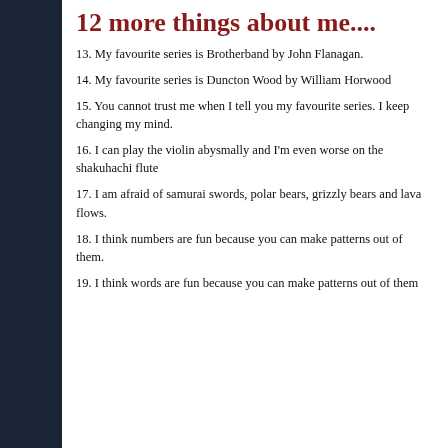12 more things about me....
13. My favourite series is Brotherband by John Flanagan.
14. My favourite series is Duncton Wood by William Horwood
15. You cannot trust me when I tell you my favourite series. I keep changing my mind.
16. I can play the violin abysmally and I'm even worse on the shakuhachi flute
17. I am afraid of samurai swords, polar bears, grizzly bears and lava flows.
18. I think numbers are fun because you can make patterns out of them.
19. I think words are fun because you can make patterns out of them